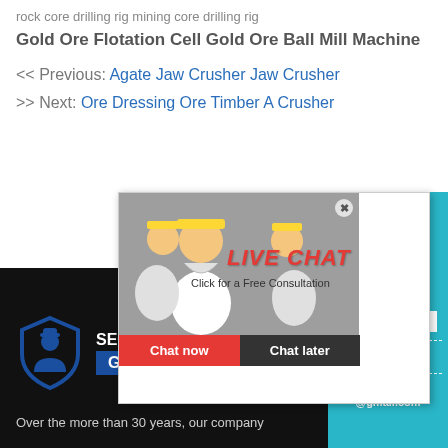rock core drilling rig mining core drilling rig
Gold Ore Flotation Cell Gold Ore Ball Mill Machine
<< Previous: Agate Jaw Crusher Jaw Crusher
>> Next: Ore Dressing Ore Timber A Crusher
[Figure (screenshot): Live chat popup with workers in hard hats, red LIVE CHAT text, Chat now and Chat later buttons]
[Figure (infographic): Teal support panel with smiley face headset, 7 hours online, Click me to chat >> button, Enquiry label, cywaitml@gmail.com]
[Figure (logo): Security Guard shield icon with officer figure, SECURITY GUARD text in blue badge]
Over the more than 30 years, our company